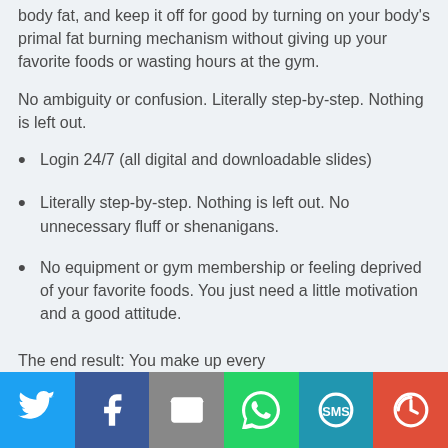body fat, and keep it off for good by turning on your body's primal fat burning mechanism without giving up your favorite foods or wasting hours at the gym.
No ambiguity or confusion. Literally step-by-step. Nothing is left out.
Login 24/7 (all digital and downloadable slides)
Literally step-by-step. Nothing is left out. No unnecessary fluff or shenanigans.
No equipment or gym membership or feeling deprived of your favorite foods. You just need a little motivation and a good attitude.
The end result: You make up every...
[Figure (infographic): Social sharing bar with Twitter, Facebook, Email, WhatsApp, SMS, and More buttons]